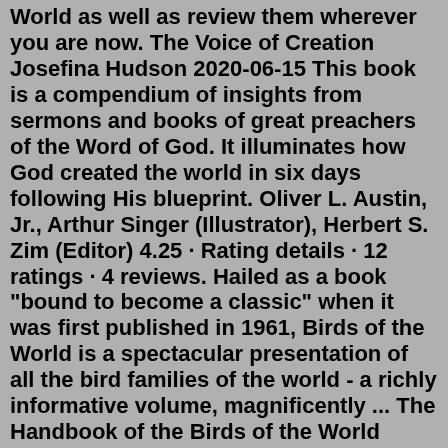World as well as review them wherever you are now. The Voice of Creation Josefina Hudson 2020-06-15 This book is a compendium of insights from sermons and books of great preachers of the Word of God. It illuminates how God created the world in six days following His blueprint. Oliver L. Austin, Jr., Arthur Singer (Illustrator), Herbert S. Zim (Editor) 4.25 · Rating details · 12 ratings · 4 reviews. Hailed as a book "bound to become a classic" when it was first published in 1961, Birds of the World is a spectacular presentation of all the bird families of the world - a richly informative volume, magnificently ... The Handbook of the Birds of the World (HBW) is a multi-volume series produced by the Spanish publishing house Lynx Edicions in partnership with BirdLife International.It is the first handbook to cover every known living species of bird.The series was edited by Josep del Hoyo, Andrew Elliott, Jordi Sargatal and David A. Christie.. All 16 volumes have been published.Jun 23, 2022 · Type New. Format. ISBN 9780857828958. This beautiful and inspiring